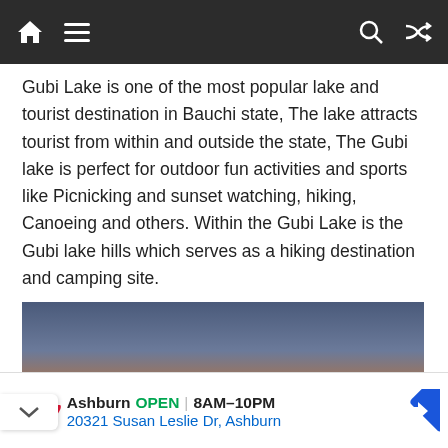Navigation bar with home, menu, search, and shuffle icons
Gubi Lake is one of the most popular lake and tourist destination in Bauchi state, The lake attracts tourist from within and outside the state, The Gubi lake is perfect for outdoor fun activities and sports like Picnicking and sunset watching, hiking, Canoeing and others. Within the Gubi Lake is the Gubi lake hills which serves as a hiking destination and camping site.
[Figure (photo): Sunset photo showing silhouetted clouds against an orange and yellow sky over Gubi Lake]
Ashburn  OPEN | 8AM–10PM
20321 Susan Leslie Dr, Ashburn